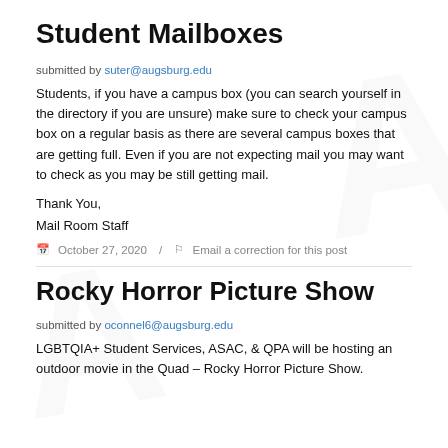Student Mailboxes
submitted by suter@augsburg.edu
Students, if you have a campus box (you can search yourself in the directory if you are unsure) make sure to check your campus box on a regular basis as there are several campus boxes that are getting full. Even if you are not expecting mail you may want to check as you may be still getting mail.
Thank You,
Mail Room Staff
October 27, 2020  /  Email a correction for this post
Rocky Horror Picture Show
submitted by oconnel6@augsburg.edu
LGBTQIA+ Student Services, ASAC, & QPA will be hosting an outdoor movie in the Quad – Rocky Horror Picture Show.